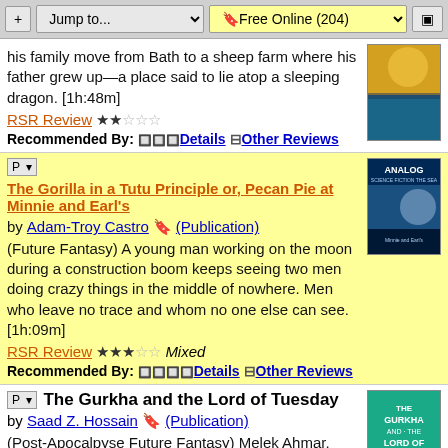+ Jump to... | Free Online (204) |
his family move from Bath to a sheep farm where his father grew up—a place said to lie atop a sleeping dragon. [1h:48m]
RSR Review ★★☆☆☆
Recommended By: Details | Other Reviews
The Gorilla in a Tutu Principle or, Pecan Pie at Minnie and Earl's by Adam-Troy Castro (Publication)
(Future Fantasy) A young man working on the moon during a construction boom keeps seeing two men doing crazy things in the middle of nowhere. Men who leave no trace and whom no one else can see. [1h:09m]
RSR Review ★★★☆☆ Mixed
Recommended By: Details | Other Reviews
The Gurkha and the Lord of Tuesday by Saad Z. Hossain (Publication)
(Post-Apocalypse Future Fantasy) Melek Ahmar, Djinn King and Lord of Tuesday awakes after thousands of years of imprisonment and sets out to take over the world. Or at least show the humans how to have a good party. [1h:40m]